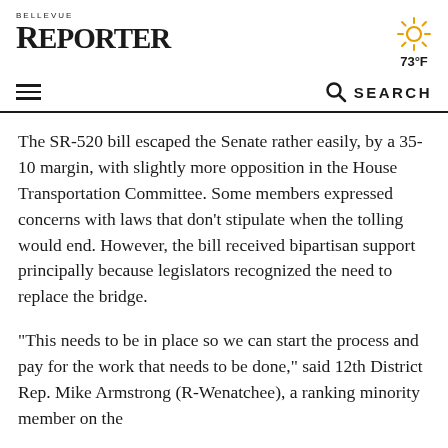BELLEVUE REPORTER
73°F
☰ 🔍 SEARCH
The SR-520 bill escaped the Senate rather easily, by a 35-10 margin, with slightly more opposition in the House Transportation Committee. Some members expressed concerns with laws that don't stipulate when the tolling would end. However, the bill received bipartisan support principally because legislators recognized the need to replace the bridge.
“This needs to be in place so we can start the process and pay for the work that needs to be done,” said 12th District Rep. Mike Armstrong (R-Wenatchee), a ranking minority member on the